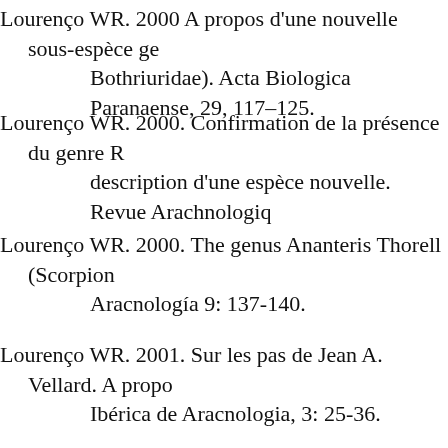Lourenço WR. 2000 A propos d'une nouvelle sous-espèce ge Bothriuridae). Acta Biologica Paranaense, 29, 117–125.
Lourenço WR. 2000. Confirmation de la présence du genre R description d'une espèce nouvelle. Revue Arachnologiq
Lourenço WR. 2000. The genus Ananteris Thorell (Scorpion Aracnología 9: 137-140.
Lourenço WR. 2001. Sur les pas de Jean A. Vellard. A propo Ibérica de Aracnologia, 3: 25-36.